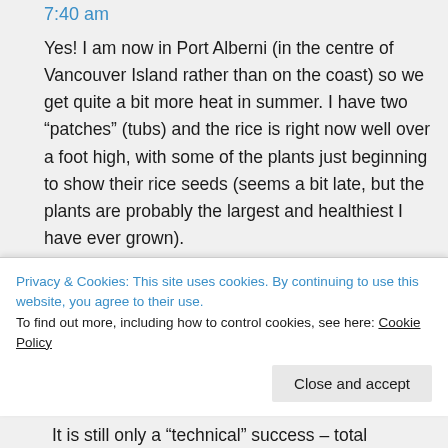7:40 am
Yes! I am now in Port Alberni (in the centre of Vancouver Island rather than on the coast) so we get quite a bit more heat in summer. I have two “patches” (tubs) and the rice is right now well over a foot high, with some of the plants just beginning to show their rice seeds (seems a bit late, but the plants are probably the largest and healthiest I have ever grown).
I am using my own seed which is
Privacy & Cookies: This site uses cookies. By continuing to use this website, you agree to their use.
To find out more, including how to control cookies, see here: Cookie Policy
Close and accept
It is still only a “technical” success – total